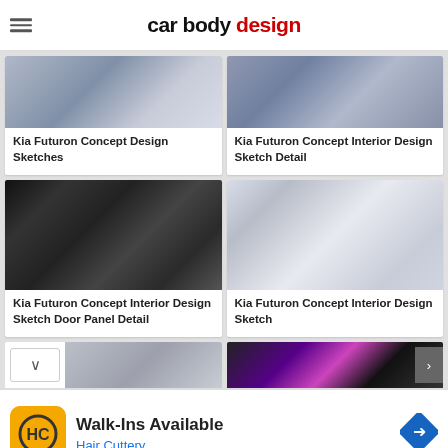car body design
[Figure (screenshot): Kia Futuron Concept Design Sketches thumbnail - bluish grey car body detail sketch]
Kia Futuron Concept Design Sketches
[Figure (screenshot): Kia Futuron Concept Interior Design Sketch Detail thumbnail - dark purplish interior sketch]
Kia Futuron Concept Interior Design Sketch Detail
[Figure (screenshot): Kia Futuron Concept Interior Design Sketch Door Panel Detail - dark dramatic door panel sketch]
Kia Futuron Concept Interior Design Sketch Door Panel Detail
[Figure (screenshot): Kia Futuron Concept Interior Design Sketch - white/grey interior sketch]
Kia Futuron Concept Interior Design Sketch
[Figure (screenshot): Partial thumbnails of two more Kia Futuron images at bottom]
Walk-Ins Available
Hair Cuttery